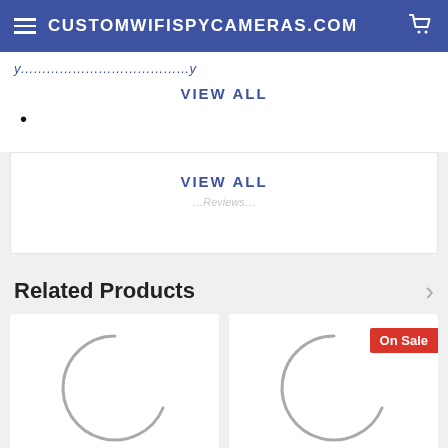CUSTOMWIFISPYCAMERAS.COM
VIEW ALL
•
VIEW ALL
Related Products
[Figure (other): Loading spinner arc in product card 1]
[Figure (other): Loading spinner arc in product card 2 with On Sale badge]